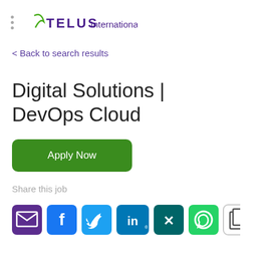TELUS International
< Back to search results
Digital Solutions | DevOps Cloud
Apply Now
Share this job